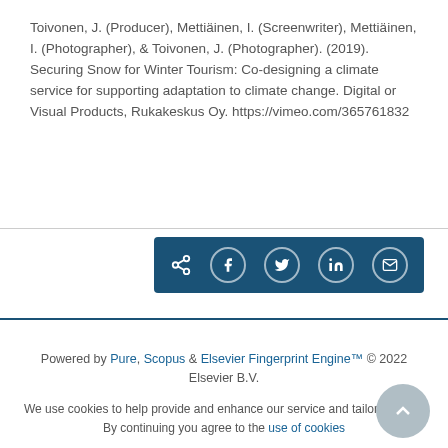Toivonen, J. (Producer), Mettiäinen, I. (Screenwriter), Mettiäinen, I. (Photographer), & Toivonen, J. (Photographer). (2019). Securing Snow for Winter Tourism: Co-designing a climate service for supporting adaptation to climate change. Digital or Visual Products, Rukakeskus Oy. https://vimeo.com/365761832
[Figure (other): Social share button bar with icons for share, Facebook, Twitter, LinkedIn, and email on a dark blue background]
Powered by Pure, Scopus & Elsevier Fingerprint Engine™ © 2022 Elsevier B.V.
We use cookies to help provide and enhance our service and tailor content. By continuing you agree to the use of cookies
Log in to Pure
About web accessibility
Contact us